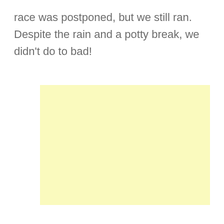race was postponed, but we still ran. Despite the rain and a potty break, we didn't do to bad!
[Figure (photo): A blank light yellow rectangular image placeholder]